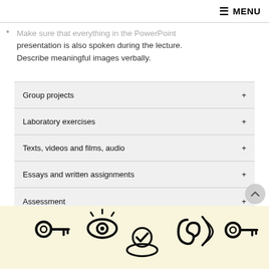MENU
Make sure that everything in the PowerPoint presentation is also spoken during the lecture. Describe meaningful images verbally.
Group projects
Laboratory exercises
Texts, videos and films, audio
Essays and written assignments
Assessment
[Figure (infographic): Infographic with icons on a pale yellow background showing accessibility-related symbols: a key, an eye with rays, a hand holding a checkmark, an ear with sound waves, and another key icon.]